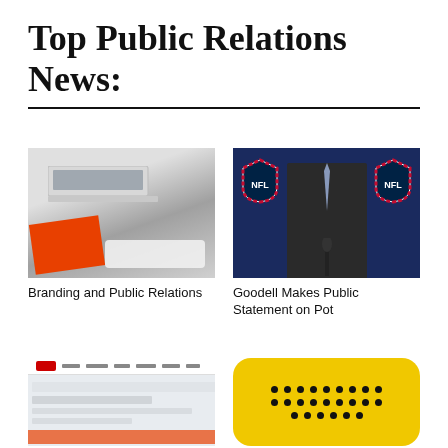Top Public Relations News:
[Figure (photo): Desk with Apple keyboard, laptop, and orange branded materials reading 'Brand Country']
Branding and Public Relations
[Figure (photo): Man in suit at NFL press conference podium with NFL logos in background — Roger Goodell]
Goodell Makes Public Statement on Pot
[Figure (screenshot): Partial screenshot of a web page with red logo and navigation bar]
[Figure (photo): Yellow rounded rectangle device with black braille dots pattern]